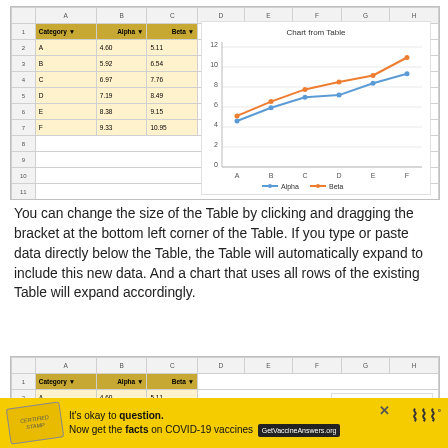[Figure (screenshot): Screenshot of a spreadsheet (Excel/LibreOffice) showing a table with columns Category, Alpha, Beta and rows A-F, alongside a line chart titled 'Chart from Table' with two series Alpha and Beta plotted against categories A-F.]
You can change the size of the Table by clicking and dragging the bracket at the bottom left corner of the Table. If you type or paste data directly below the Table, the Table will automatically expand to include this new data. And a chart that uses all rows of the existing Table will expand accordingly.
[Figure (screenshot): Partial screenshot of spreadsheet showing table header row (Category, Alpha, Beta) and first data row (A, 4.60, 5.11), with partial chart visible at right.]
[Figure (infographic): Advertisement banner: yellow background with stamp logo, text 'It's okay to question. Now get the facts on COVID-19 vaccines GetVaccineAnswers.org', close X button, and Weatherford logo.]